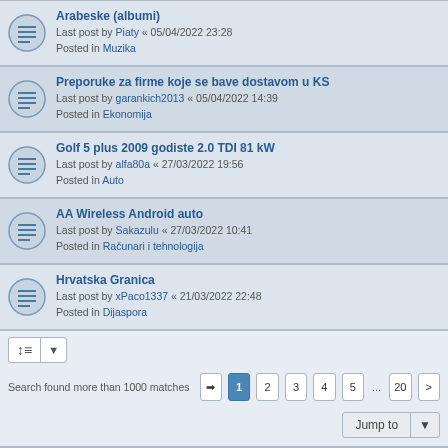Arabeske (albumi)
Last post by Piaty « 05/04/2022 23:28
Posted in Muzika
Preporuke za firme koje se bave dostavom u KS
Last post by garankich2013 « 05/04/2022 14:39
Posted in Ekonomija
Golf 5 plus 2009 godiste 2.0 TDI 81 kW
Last post by alfa80a « 27/03/2022 19:56
Posted in Auto
AA Wireless Android auto
Last post by Sakazulu « 27/03/2022 10:41
Posted in Računari i tehnologija
Hrvatska Granica
Last post by xPaco1337 « 21/03/2022 22:48
Posted in Dijaspora
Search found more than 1000 matches   1 2 3 4 5 ... 20 >
Board index   Delete cookies   All times are UTC+02:00
Powered by phpBB® Forum Software © phpBB Limited
Privacy | Terms